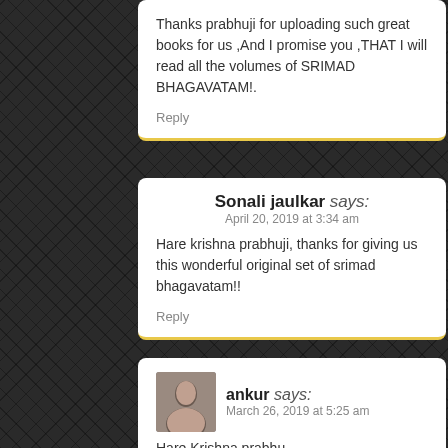Thanks prabhuji for uploading such great books for us ,And I promise you ,THAT I will read all the volumes of SRIMAD BHAGAVATAM!.
Reply
Sonali jaulkar says:
April 20, 2019 at 3:34 am
Hare krishna prabhuji, thanks for giving us this wonderful original set of srimad bhagavatam!!
Reply
[Figure (photo): Small avatar photo of commenter ankur]
ankur says:
March 26, 2019 at 5:25 am
Hare Krishna prabhu,